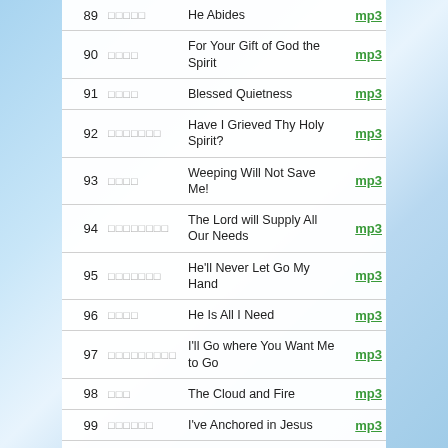| # | Script | Title | Link |
| --- | --- | --- | --- |
| 89 | □□□□□ | He Abides | mp3 |
| 90 | □□□□ | For Your Gift of God the Spirit | mp3 |
| 91 | □□□□ | Blessed Quietness | mp3 |
| 92 | □□□□□□□ | Have I Grieved Thy Holy Spirit? | mp3 |
| 93 | □□□□ | Weeping Will Not Save Me! | mp3 |
| 94 | □□□□□□□□ | The Lord will Supply All Our Needs | mp3 |
| 95 | □□□□□□□ | He'll Never Let Go My Hand | mp3 |
| 96 | □□□□ | He Is All I Need | mp3 |
| 97 | □□□□□□□□□ | I'll Go where You Want Me to Go | mp3 |
| 98 | □□□ | The Cloud and Fire | mp3 |
| 99 | □□□□□□ | I've Anchored in Jesus | mp3 |
| 100 | □□□□□□ | He Keepeth His Promise | mp3 |